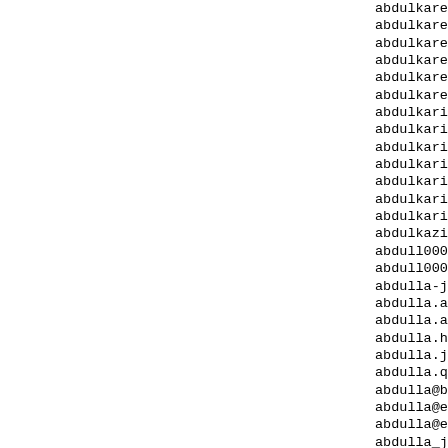abdulkareemabdul1904@g...
abdulkareemalmasabi@g...
abdulkareemltd@gmail....
abdulkareemumar@consu...
abdulkareemumar@mail....
abdulkaremahmed26@gma...
abdulkarim.auditor@po...
abdulkarim.sanni1969@...
abdulkarim1@outlook.f...
abdulkarim22@workmail...
abdulkarima31@gmail.c...
abdulkarimdahiru90@gm...
abdulkarimdanladimary...
abdulkazimrahal@gmail...
abdull000ah@gmail.com
abdull000ah@yahoo.com
abdulla-jasim@outlook...
abdulla.a.qassem1@out...
abdulla.amadou@gmail....
abdulla.hamad.al.sham...
abdulla.jasim54@gmail...
abdulla.qassem43@gmai...
abdulla@broker.ae
abdulla@eim.ae
abdulla@emirates.net....
abdulla_jasim@hotmail...
abdulla_jasim@outlook...
abdullaabdullaabdulla...
abdullaahmed512@gmail...
abdullaalmazrouitrave...
abdullabdulkarim2010...